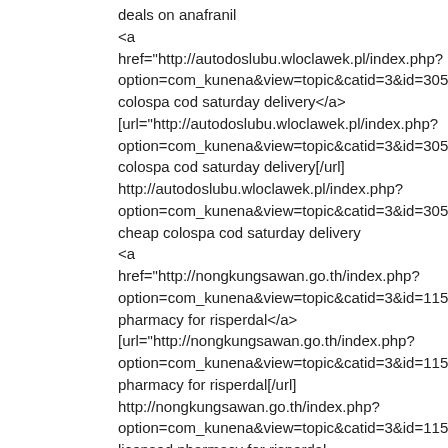deals on anafranil
<a href="http://autodoslubu.wloclawek.pl/index.php?option=com_kunena&view=topic&catid=3&id=3057&Itemid=colospa cod saturday delivery</a>
[url="http://autodoslubu.wloclawek.pl/index.php?option=com_kunena&view=topic&catid=3&id=3057&Itemid=colospa cod saturday delivery[/url]
http://autodoslubu.wloclawek.pl/index.php?option=com_kunena&view=topic&catid=3&id=3057&Itemid=cheap colospa cod saturday delivery
<a href="http://nongkungsawan.go.th/index.php?option=com_kunena&view=topic&catid=3&id=1152&Itemid=pharmacy for risperdal</a>
[url="http://nongkungsawan.go.th/index.php?option=com_kunena&view=topic&catid=3&id=1152&Itemid=pharmacy for risperdal[/url]
http://nongkungsawan.go.th/index.php?option=com_kunena&view=topic&catid=3&id=1152&Itemid=licensed pharmacy for risperdal
<a href="http://lexa-posel.cz/index.php/forum/suggestion-box/15-toradol-i-want-ketorolac-buy">i want ketorolac toradol buy</a>
[url="http://lexa-posel.cz/index.php/forum/suggestion-box/15-toradol-i-want-ketorolac-buy"]i want ketorolac toradol buy[/url]